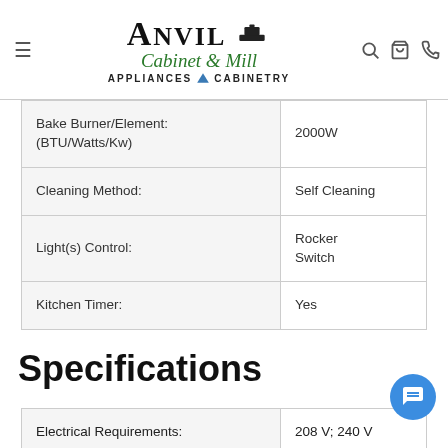Anvil Cabinet & Mill — APPLIANCES CABINETRY
| Specification | Value |
| --- | --- |
| Bake Burner/Element: (BTU/Watts/Kw) | 2000W |
| Cleaning Method: | Self Cleaning |
| Light(s) Control: | Rocker Switch |
| Kitchen Timer: | Yes |
Specifications
| Specification | Value |
| --- | --- |
| Electrical Requirements: | 208 V; 240 V |